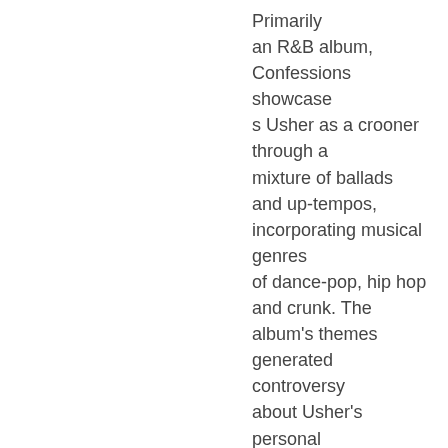Primarily an R&B album, Confessions showcases Usher as a crooner through a mixture of ballads and up-tempos, incorporating musical genres of dance-pop, hip hop and crunk. The album's themes generated controversy about Usher's personal relationships; however, the album's primary producer Jermaine Dupri claimed the album reflects Dupri's own personal story.
In the United States, the album sold 1.1 million copies in its first week. To boost sales amid threats of bootlegging, the special edition for the album was issued, which includes the single, "My Boo"; a duet with Alicia Keys. Confessions earned Usher several awards, including the Grammy Award for Best Contemporary R&B